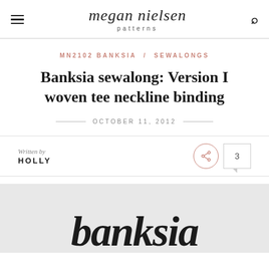megan nielsen patterns
MN2102 BANKSIA / SEWALONGS
Banksia sewalong: Version I woven tee neckline binding
OCTOBER 11, 2012
Written by
HOLLY
[Figure (photo): Partial view of stylized handwritten 'banksia' text in black on light grey background]